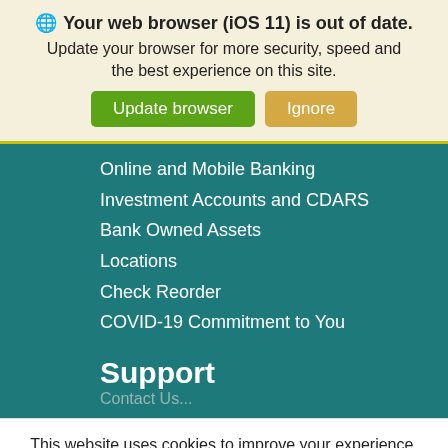🌐 Your web browser (iOS 11) is out of date. Update your browser for more security, speed and the best experience on this site.
Update browser | Ignore
Online and Mobile Banking
Investment Accounts and CDARS
Bank Owned Assets
Locations
Check Reorder
COVID-19 Commitment to You
Support
This website uses cookies to improve your experience. We'll assume you're ok with this, but you can opt-out if you wish.
Cookie settings | ACCEPT